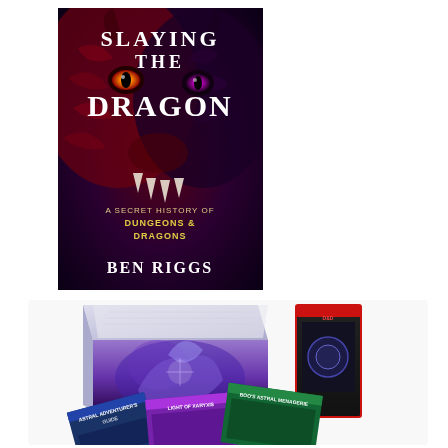[Figure (photo): Book cover of 'Slaying the Dragon: A Secret History of Dungeons & Dragons' by Ben Riggs. Dark fantasy cover with a red and purple dragon face, glowing eyes, sharp teeth. Title text in large white letters, subtitle in yellow, author name in white at the bottom.]
[Figure (photo): D&D (Dungeons & Dragons) product bundle. On the left, a large open box with purple dragon fantasy artwork containing maps/materials. On the right, a black collector's box set. In the front/bottom, three book covers visible: 'Astral Adventurer's Guide', 'Light of Xaryxis', and 'Boo's Astral Menagerie'.]